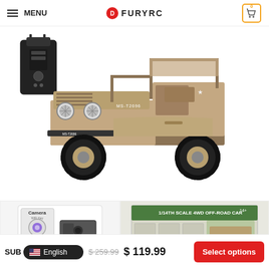MENU | FURYRC | Cart: 0
[Figure (photo): RC military jeep toy car (sand/tan color, model MS-T2696) with remote controller visible top-left, shown from 3/4 front angle on white background]
[Figure (photo): Camera WiFi key product box / packaging thumbnail]
[Figure (photo): 1/14TH SCALE 4WD OFF-ROAD CAR retail box packaging with product images]
SUB
English
$ 259.99  $ 119.99
Select options